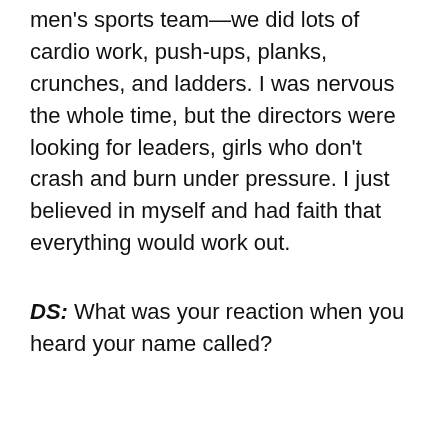men's sports team—we did lots of cardio work, push-ups, planks, crunches, and ladders. I was nervous the whole time, but the directors were looking for leaders, girls who don't crash and burn under pressure. I just believed in myself and had faith that everything would work out.
DS: What was your reaction when you heard your name called?